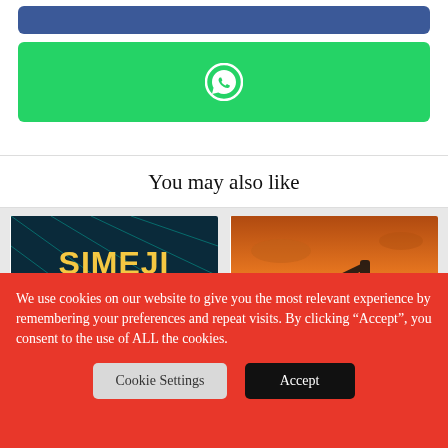[Figure (screenshot): Blue Facebook share button (top, partial)]
[Figure (screenshot): Green WhatsApp share button with WhatsApp icon]
You may also like
[Figure (screenshot): Thumbnail image: Simeji Web3 logo on dark teal grid background with emoji characters]
Chinese search engine Baidu embraces NFTs, crypto in Japan
[Figure (photo): Photo of an oil pump jack silhouetted against a sunset sky]
Blockchain for Energy signs up new consortium member Devon Energy
We use cookies on our website to give you the most relevant experience by remembering your preferences and repeat visits. By clicking “Accept”, you consent to the use of ALL the cookies.